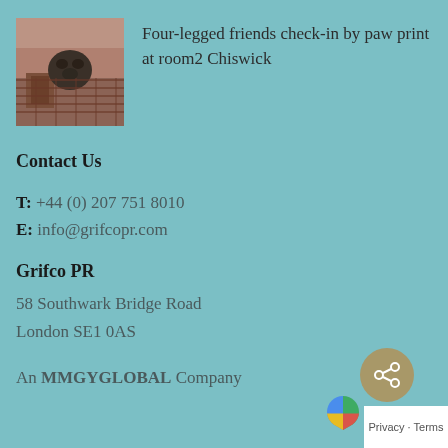[Figure (photo): Small thumbnail image showing a dog or pet on a red/brown textured surface]
Four-legged friends check-in by paw print at room2 Chiswick
Contact Us
T: +44 (0) 207 751 8010
E: info@grifcopr.com
Grifco PR
58 Southwark Bridge Road
London SE1 0AS
An MMGYGLOBAL Company